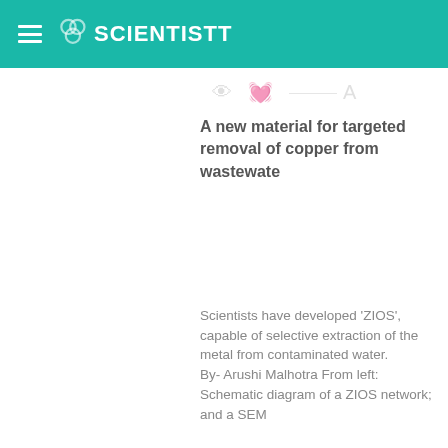SCIENTISTT
A new material for targeted removal of copper from wastewater
Scientists have developed 'ZIOS', capable of selective extraction of the metal from contaminated water. By- Arushi Malhotra From left: Schematic diagram of a ZIOS network; and a SEM